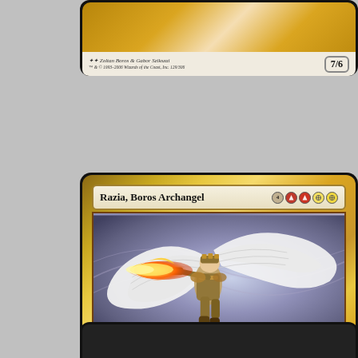[Figure (photo): Partial top Magic: The Gathering card showing bottom strip with artist credit 'Zoltan Boros & Gabor Szikszai' and power/toughness '7/6']
[Figure (illustration): Magic: The Gathering card 'Razia, Boros Archangel' with mana cost 4RRWW. Legendary Creature - Angel. Art shows an armored angel with white wings shooting fire. Flying, vigilance, haste. Tap ability redirects 3 damage. Power/toughness 6/3. Artist: Donato Giancola.]
Razia, Boros Archangel
Legendary Creature — Angel
Flying, vigilance, haste
T: The next 3 damage that would be dealt to target creature you control this turn is dealt to another target creature instead.
Her sword burns with such brightness that foes avert their eyes and arrows divert their paths.
Donato Giancola
6/3
[Figure (photo): Partial bottom Magic: The Gathering card, dark colored, top edge visible]